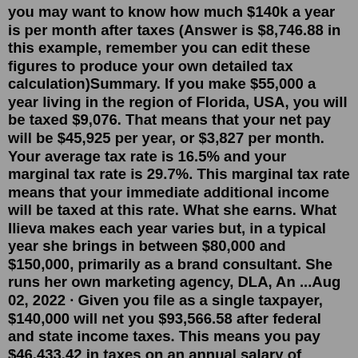you may want to know how much $140k a year is per month after taxes (Answer is $8,746.88 in this example, remember you can edit these figures to produce your own detailed tax calculation)Summary. If you make $55,000 a year living in the region of Florida, USA, you will be taxed $9,076. That means that your net pay will be $45,925 per year, or $3,827 per month. Your average tax rate is 16.5% and your marginal tax rate is 29.7%. This marginal tax rate means that your immediate additional income will be taxed at this rate. What she earns. What Ilieva makes each year varies but, in a typical year she brings in between $80,000 and $150,000, primarily as a brand consultant. She runs her own marketing agency, DLA, An ...Aug 02, 2022 · Given you file as a single taxpayer, $140,000 will net you $93,566.58 after federal and state income taxes. This means you pay $46,433.42 in taxes on an annual salary of 140,000 dollars. Your average tax rate will be 33.17% and your marginal rate will be 40.95%. Income taxes